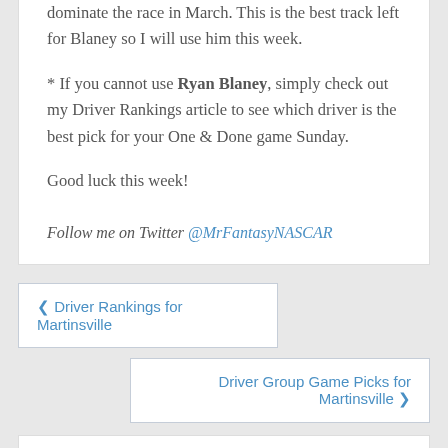dominate the race in March. This is the best track left for Blaney so I will use him this week.
* If you cannot use Ryan Blaney, simply check out my Driver Rankings article to see which driver is the best pick for your One & Done game Sunday.
Good luck this week!
Follow me on Twitter @MrFantasyNASCAR
< Driver Rankings for Martinsville
Driver Group Game Picks for Martinsville >
FOLLOW US